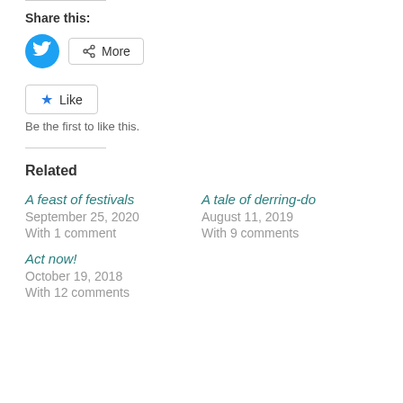Share this:
[Figure (other): Twitter share button (blue circle with bird icon) and More button with share icon]
[Figure (other): Like button with blue star icon]
Be the first to like this.
Related
A feast of festivals
September 25, 2020
With 1 comment
A tale of derring-do
August 11, 2019
With 9 comments
Act now!
October 19, 2018
With 12 comments